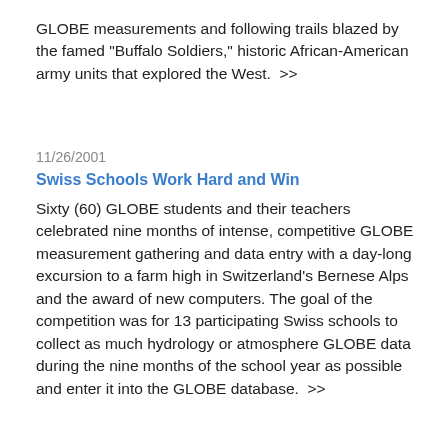GLOBE measurements and following trails blazed by the famed "Buffalo Soldiers," historic African-American army units that explored the West.  >>
11/26/2001
Swiss Schools Work Hard and Win
Sixty (60) GLOBE students and their teachers celebrated nine months of intense, competitive GLOBE measurement gathering and data entry with a day-long excursion to a farm high in Switzerland's Bernese Alps and the award of new computers. The goal of the competition was for 13 participating Swiss schools to collect as much hydrology or atmosphere GLOBE data during the nine months of the school year as possible and enter it into the GLOBE database.  >>